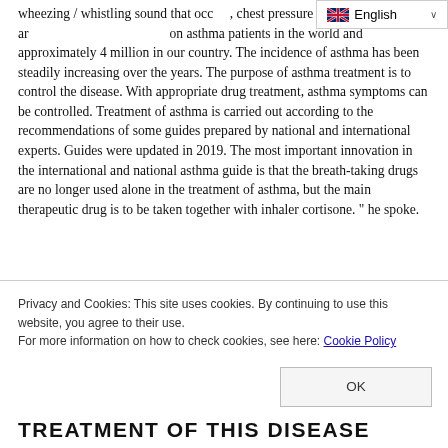wheezing / whistling sound that occurs, chest pressure and cough. There are approximately 300 million asthma patients in the world and approximately 4 million in our country. The incidence of asthma has been steadily increasing over the years. The purpose of asthma treatment is to control the disease. With appropriate drug treatment, asthma symptoms can be controlled. Treatment of asthma is carried out according to the recommendations of some guides prepared by national and international experts. Guides were updated in 2019. The most important innovation in the international and national asthma guide is that the breath-taking drugs are no longer used alone in the treatment of asthma, but the main therapeutic drug is to be taken together with inhaler cortisone. " he spoke.
Privacy and Cookies: This site uses cookies. By continuing to use this website, you agree to their use. For more information on how to check cookies, see here: Cookie Policy
TREATMENT OF THIS DISEASE